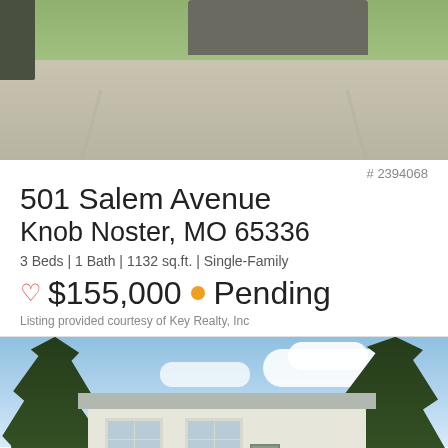[Figure (photo): Outdoor driveway/street scene photo, top portion of property listing]
# 2394068
501 Salem Avenue
Knob Noster, MO 65336
3 Beds | 1 Bath | 1132 sq.ft. | Single-Family
♡ $155,000 ● Pending
Listing provided courtesy of Key Realty, Inc
[Figure (photo): Exterior front view of a single-family home with metal roof, two windows, surrounded by trees under blue sky]